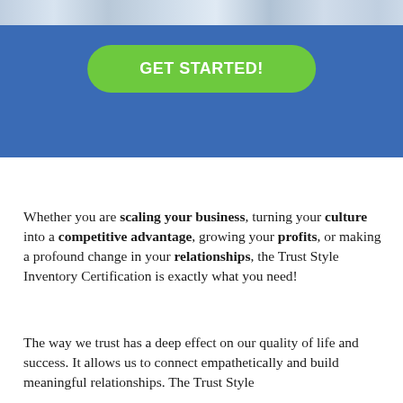[Figure (photo): A decorative photo strip at the very top of the page showing people in a light blue/grey toned image]
GET STARTED!
Whether you are scaling your business, turning your culture into a competitive advantage, growing your profits, or making a profound change in your relationships, the Trust Style Inventory Certification is exactly what you need!
The way we trust has a deep effect on our quality of life and success. It allows us to connect empathetically and build meaningful relationships. The Trust Style